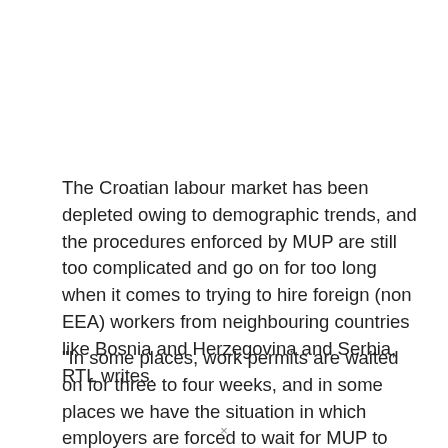The Croatian labour market has been depleted owing to demographic trends, and the procedures enforced by MUP are still too complicated and go on for too long when it comes to trying to hire foreign (non EEA) workers from neighbouring countries like Bosnia and Herzegovina and Serbia, RTL writes.
"In some places, work permits are waited on for three to four weeks, and in some places we have the situation in which employers are forced to wait for MUP to deal with their request to hire foreigners for four to five months," warned the director of the